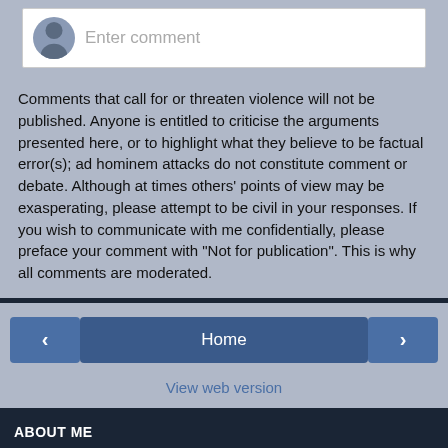[Figure (screenshot): Comment input box with avatar silhouette and placeholder text 'Enter comment']
Comments that call for or threaten violence will not be published. Anyone is entitled to criticise the arguments presented here, or to highlight what they believe to be factual error(s); ad hominem attacks do not constitute comment or debate. Although at times others' points of view may be exasperating, please attempt to be civil in your responses. If you wish to communicate with me confidentially, please preface your comment with "Not for publication". This is why all comments are moderated.
[Figure (screenshot): Navigation bar with left arrow button, Home button, right arrow button]
View web version
ABOUT ME
[Figure (screenshot): Thumbnail photo and Blogger icon with Durotrigan name link]